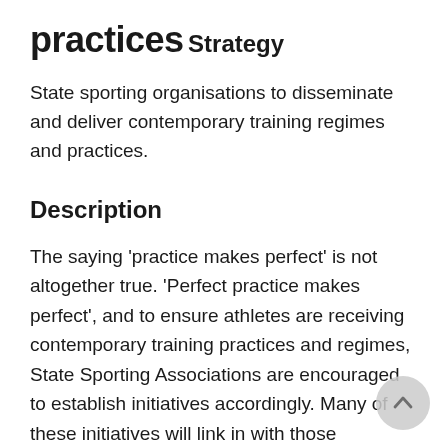practices
Strategy
State sporting organisations to disseminate and deliver contemporary training regimes and practices.
Description
The saying 'practice makes perfect' is not altogether true. 'Perfect practice makes perfect', and to ensure athletes are receiving contemporary training practices and regimes, State Sporting Associations are encouraged to establish initiatives accordingly. Many of these initiatives will link in with those contained in the